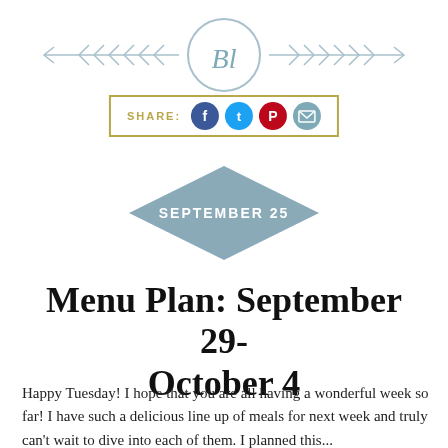[Figure (logo): Blog logo with stylized 'Bl' in a circle flanked by decorative arrow/chevron elements on both sides]
[Figure (infographic): Share bar with label SHARE: followed by Facebook, Twitter, Pinterest, and Email social media icon buttons inside a gold/olive rectangular border]
[Figure (infographic): Blue/steel colored diamond shape with text SEPTEMBER 25 in white capital letters]
Menu Plan: September 29-October 4
Happy Tuesday! I hope that you are all having a wonderful week so far! I have such a delicious line up of meals for next week and truly can't wait to dive into each of them. I planned this...